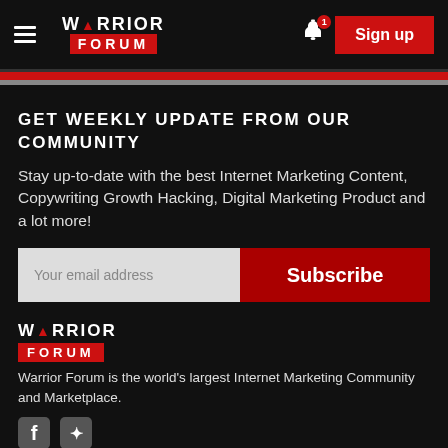[Figure (logo): Warrior Forum navigation bar with hamburger menu, logo, bell notification icon with badge '1', and red Sign up button]
GET WEEKLY UPDATE FROM OUR COMMUNITY
Stay up-to-date with the best Internet Marketing Content, Copywriting Growth Hacking, Digital Marketing Product and a lot more!
Your email address [input] Subscribe [button]
[Figure (logo): Warrior Forum footer logo with WARRIOR text above red FORUM bar]
Warrior Forum is the world's largest Internet Marketing Community and Marketplace.